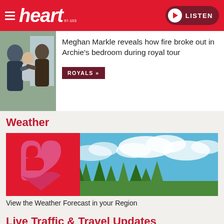heart 97-103 | LISTEN
[Figure (photo): Photo of two adults holding a baby, possibly Harry and Meghan with Archie]
Meghan Markle reveals how fire broke out in Archie's bedroom during royal tour
ROYALS »
Weather
[Figure (photo): Heart FM branded weather image: large pink/red heart logo on left, blue sky with clouds and green trees on right]
View the Weather Forecast in your Region
Live Traffic & Travel Updates